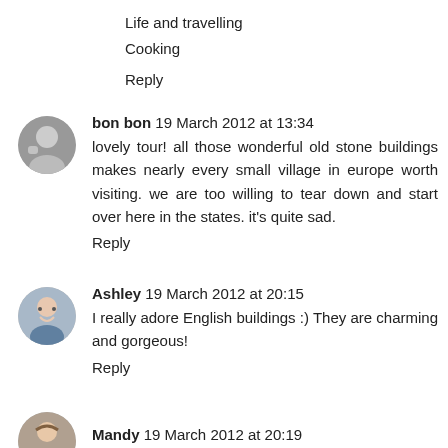Life and travelling
Cooking
Reply
bon bon 19 March 2012 at 13:34
lovely tour! all those wonderful old stone buildings makes nearly every small village in europe worth visiting. we are too willing to tear down and start over here in the states. it's quite sad.
Reply
Ashley 19 March 2012 at 20:15
I really adore English buildings :) They are charming and gorgeous!
Reply
Mandy 19 March 2012 at 20:19